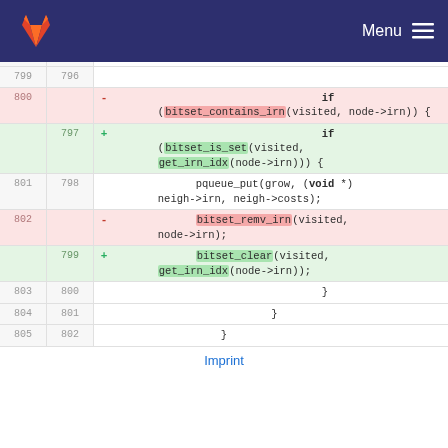GitLab Menu
[Figure (screenshot): Git diff view showing code changes with line numbers, removal lines highlighted in red and addition lines in green, containing C code for bitset operations]
Imprint